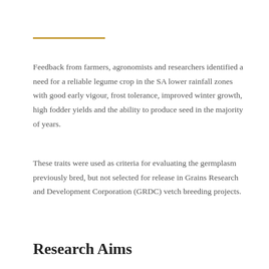Feedback from farmers, agronomists and researchers identified a need for a reliable legume crop in the SA lower rainfall zones with good early vigour, frost tolerance, improved winter growth, high fodder yields and the ability to produce seed in the majority of years.
These traits were used as criteria for evaluating the germplasm previously bred, but not selected for release in Grains Research and Development Corporation (GRDC) vetch breeding projects.
Research Aims